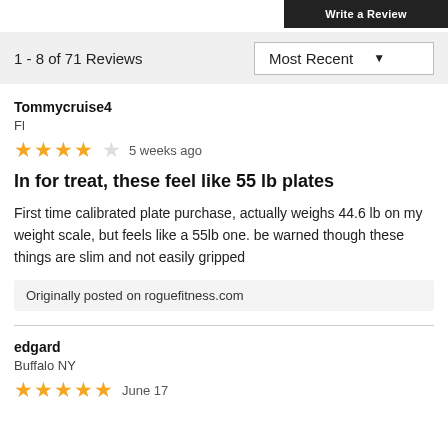Write a Review
1 - 8 of 71 Reviews
Most Recent
Tommycruise4
Fl
★★★★☆  5 weeks ago
In for treat, these feel like 55 lb plates
First time calibrated plate purchase, actually weighs 44.6 lb on my weight scale, but feels like a 55lb one. be warned though these things are slim and not easily gripped
Originally posted on roguefitness.com
edgard
Buffalo NY
★★★★★  June 17